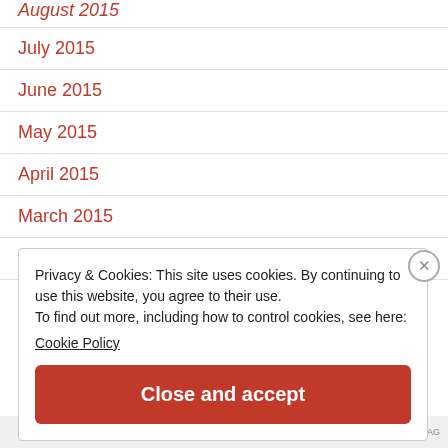August 2015
July 2015
June 2015
May 2015
April 2015
March 2015
January 2015
Privacy & Cookies: This site uses cookies. By continuing to use this website, you agree to their use.
To find out more, including how to control cookies, see here:
Cookie Policy
Close and accept